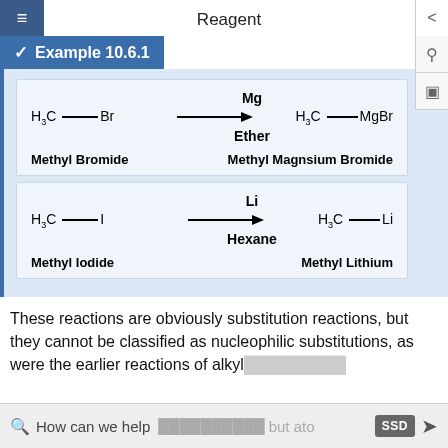Reagent
✓ Example 10.6.1
[Figure (engineering-diagram): Chemical reaction diagram showing H3C-Br (Methyl Bromide) reacting with Mg in Ether to form H3C-MgBr (Methyl Magnesium Bromide). Arrow pointing right with Mg above and Ether below.]
[Figure (engineering-diagram): Chemical reaction diagram showing H3C-I (Methyl Iodide) reacting with Li in Hexane to form H3C-Li (Methyl Lithium). Arrow pointing right with Li above and Hexane below.]
These reactions are obviously substitution reactions, but they cannot be classified as nucleophilic substitutions, as were the earlier reactions of alkyl